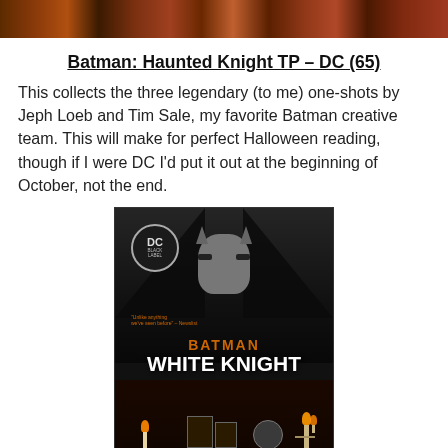[Figure (photo): Top banner image strip showing comic book artwork]
Batman: Haunted Knight TP – DC (65)
This collects the three legendary (to me) one-shots by Jeph Loeb and Tim Sale, my favorite Batman creative team. This will make for perfect Halloween reading, though if I were DC I'd put it out at the beginning of October, not the end.
[Figure (photo): Batman White Knight DC Black Label comic book cover showing Batman figure looming above a dark gothic room scene with candles]